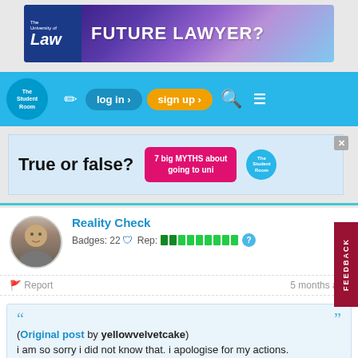[Figure (other): University of Law advertisement banner with text 'FUTURE LAWYER?' on purple/blue gradient background]
[Figure (screenshot): The Student Room navigation bar with logo, edit icon, log in, sign up, search, and menu buttons on blue background]
[Figure (other): Advertisement: 'True or false? 7 big MYTHS about going to uni' on light blue background]
Reality Check
Badges: 22  Rep: [green bars] ?
Report  5 months ago
(Original post by yellowvelvetcake)
i am so sorry i did not know that. i apologise for my actions.
As above - it's no problem 🙂